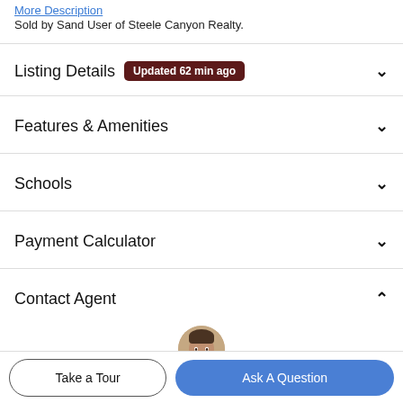More Description
Sold by Sand User of Steele Canyon Realty.
Listing Details  Updated 62 min ago
Features & Amenities
Schools
Payment Calculator
Contact Agent
[Figure (photo): Headshot of a smiling male real estate agent]
Take a Tour
Ask A Question